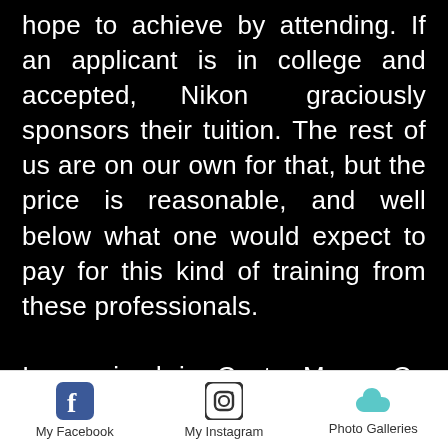hope to achieve by attending. If an applicant is in college and accepted, Nikon graciously sponsors their tuition. The rest of us are on our own for that, but the price is reasonable, and well below what one would expect to pay for this kind of training from these professionals.

I arrived in Costa Mesa, Ca Tuesday evening and quickly met some of the attendees in the hotel lobby. We discussed the fact that the training did not start until 1pm on Wednesday,
My Facebook   My Instagram   Photo Galleries